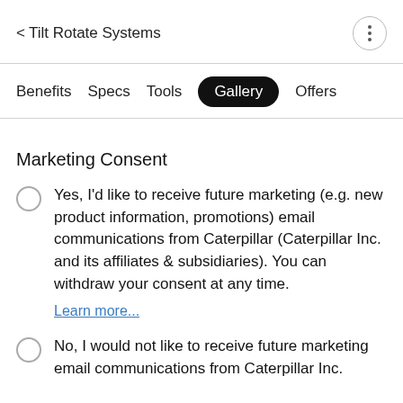< Tilt Rotate Systems
Benefits  Specs  Tools  Gallery  Offers
Marketing Consent
Yes, I'd like to receive future marketing (e.g. new product information, promotions) email communications from Caterpillar (Caterpillar Inc. and its affiliates & subsidiaries). You can withdraw your consent at any time.
Learn more...
No, I would not like to receive future marketing email communications from Caterpillar Inc.